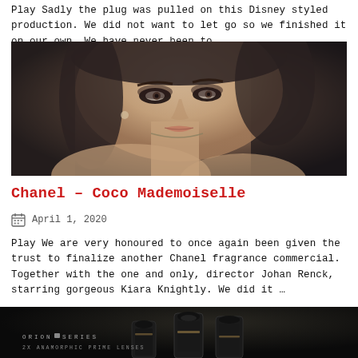Play Sadly the plug was pulled on this Disney styled production. We did not want to let go so we finished it on our own. We have never been to …
[Figure (photo): Close-up portrait of a woman with dramatic eye makeup, light skin, wearing a necklace, dark background — Keira Knightley in Chanel Coco Mademoiselle ad]
Chanel – Coco Mademoiselle
April 1, 2020
Play We are very honoured to once again been given the trust to finalize another Chanel fragrance commercial. Together with the one and only, director Johan Renck, starring gorgeous Kiara Knightly. We did it …
[Figure (photo): Dark background product/equipment photo showing ORION SERIES 2X ANAMORPHIC PRIME LENSES with black cylindrical lens housings of varying heights]